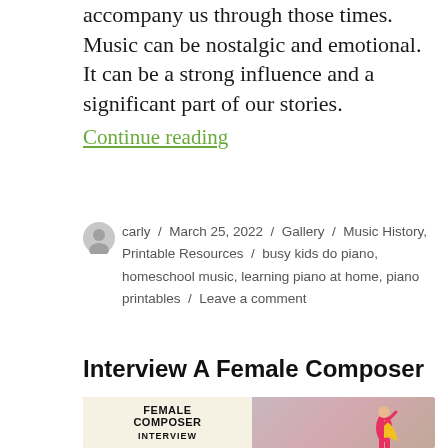accompany us through those times. Music can be nostalgic and emotional. It can be a strong influence and a significant part of our stories.
Continue reading
carly / March 25, 2022 / Gallery / Music History, Printable Resources / busy kids do piano, homeschool music, learning piano at home, piano printables / Leave a comment
Interview A Female Composer
[Figure (illustration): Blog post thumbnail showing a card with bold text 'FEMALE COMPOSER INTERVIEW' on a cream background beside a stylized figure of a superhero woman in a pink outfit with a yellow cape against a gradient purple-pink background]